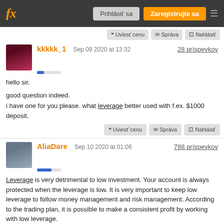fx | Prihlásiť sa | Zaregistrujte sa
kkkkk_1 | Sep 09 2020 at 13:32 | 28 príspevkov
hello sir.

good question indeed.
i have one for you please. what leverage better used with f.ex. $1000 deposit.
❝ Uviesť cenu | ✉ Správa | ⊘ Nahlásiť
AliaDare | Sep 10 2020 at 01:06 | 788 príspevkov
Leverage is very detrimental to low investment. Your account is always protected when the leverage is low. It is very important to keep low leverage to follow money management and risk management. According to the trading plan, it is possible to make a consistent profit by working with low leverage.